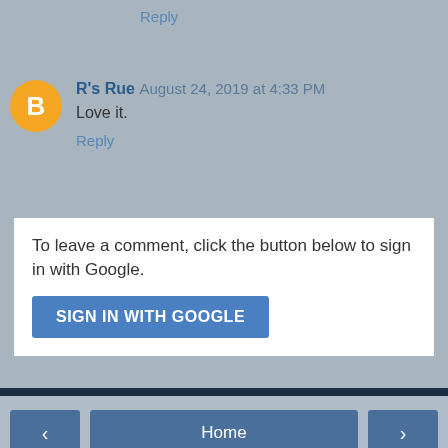Reply
R's Rue August 24, 2019 at 4:33 PM
Love it.
Reply
To leave a comment, click the button below to sign in with Google.
SIGN IN WITH GOOGLE
Home
View web version
Powered by Blogger.